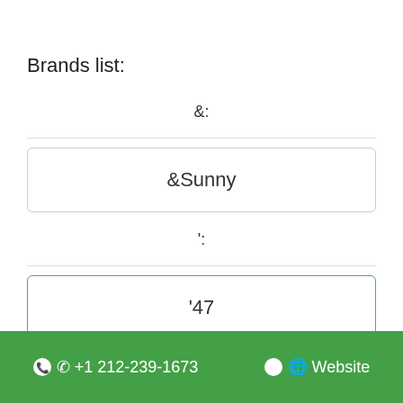Brands list:
&:
&Sunny
':
'47
2:
📞 +1 212-239-1673   🌐 Website